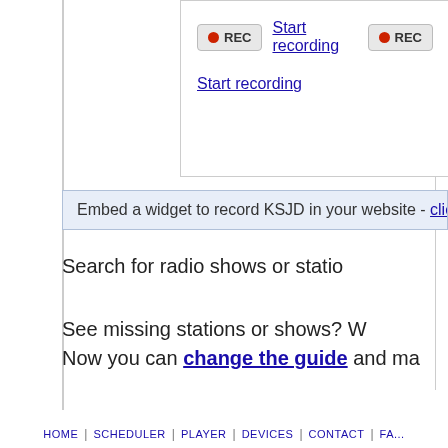[Figure (screenshot): REC button and Start recording link inside a bordered box]
Start recording
Embed a widget to record KSJD in your website - click here for more
Search for radio shows or statio
See missing stations or shows? W
Now you can change the guide and ma
HOME | SCHEDULER | PLAYER | DEVICES | CONTACT | FA...